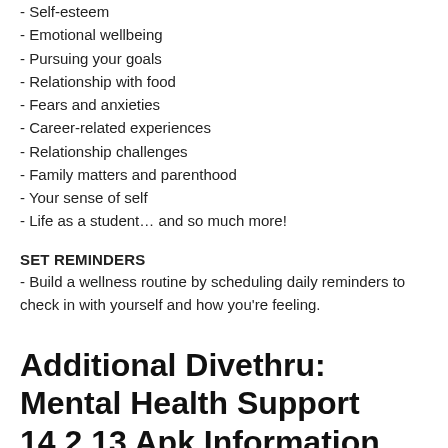- Self-esteem
- Emotional wellbeing
- Pursuing your goals
- Relationship with food
- Fears and anxieties
- Career-related experiences
- Relationship challenges
- Family matters and parenthood
- Your sense of self
- Life as a student… and so much more!
SET REMINDERS
- Build a wellness routine by scheduling daily reminders to check in with yourself and how you're feeling.
Additional Divethru: Mental Health Support 14.2.13 Apk Information
| Version | Rating | APP Vote | Size |
| --- | --- | --- | --- |